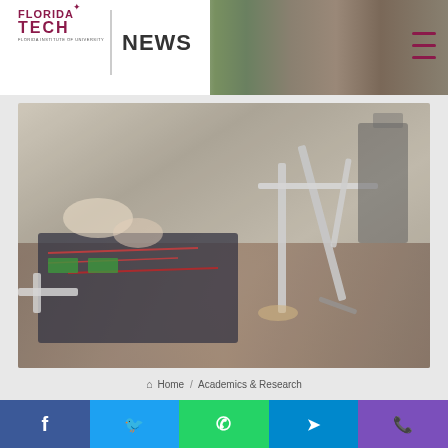FLORIDA TECH NEWS
[Figure (photo): Student working on a robotics/electronics assembly on a table, with mechanical arm structures visible]
Home / Academics & Research
NASA JPL Student Design
[Figure (other): Social share bar with Facebook, Twitter, WhatsApp, Telegram, and call buttons]